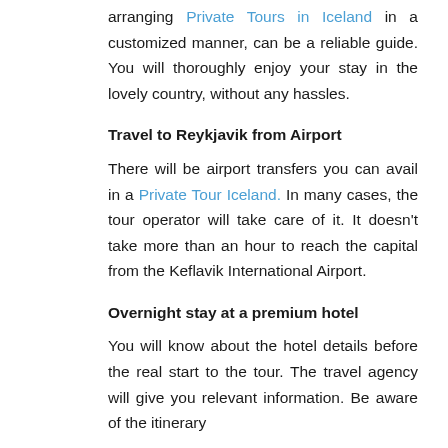arranging Private Tours in Iceland in a customized manner, can be a reliable guide. You will thoroughly enjoy your stay in the lovely country, without any hassles.
Travel to Reykjavik from Airport
There will be airport transfers you can avail in a Private Tour Iceland. In many cases, the tour operator will take care of it. It doesn't take more than an hour to reach the capital from the Keflavik International Airport.
Overnight stay at a premium hotel
You will know about the hotel details before the real start to the tour. The travel agency will give you relevant information. Be aware of the itinerary details...